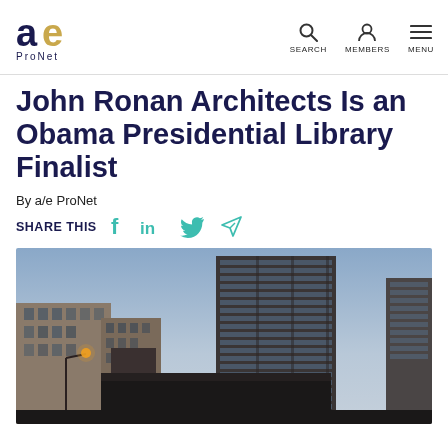a/e ProNet — SEARCH MEMBERS MENU
John Ronan Architects Is an Obama Presidential Library Finalist
By a/e ProNet
SHARE THIS
[Figure (photo): Photograph of Chicago high-rise buildings at dusk/twilight, showing multi-story residential towers with a dark foreground structure and street lights.]